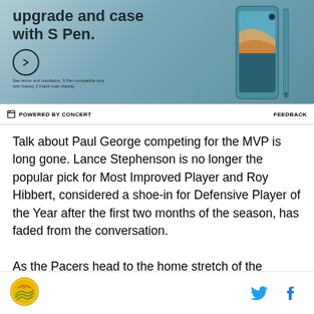[Figure (photo): Samsung Galaxy Z Fold4 advertisement showing teal phone with S Pen case. Text reads 'upgrade and case with S Pen.' with a circular arrow button and fine print about terms and conditions.]
POWERED BY CONCERT   FEEDBACK
Talk about Paul George competing for the MVP is long gone. Lance Stephenson is no longer the popular pick for Most Improved Player and Roy Hibbert, considered a shoe-in for Defensive Player of the Year after the first two months of the season, has faded from the conversation.
As the Pacers head to the home stretch of the regular
Indiana Pacers logo | Twitter icon | Facebook icon